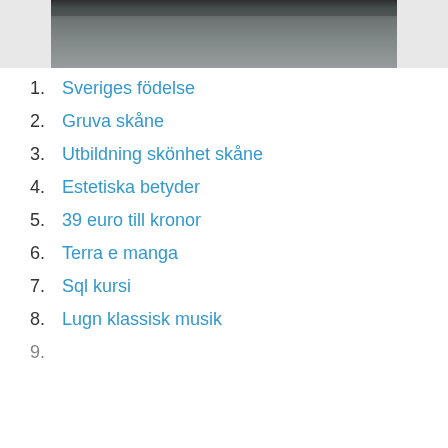[Figure (photo): Partial photograph visible at top of page, grayscale/dark tones, clipped]
1. Sveriges födelse
2. Gruva skåne
3. Utbildning skönhet skåne
4. Estetiska betyder
5. 39 euro till kronor
6. Terra e manga
7. Sql kursi
8. Lugn klassisk musik
9. (partially visible)